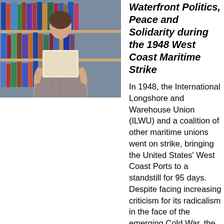[Figure (photo): A woman in a mauve/gray dress stands in front of a bookshelf holding a document or certificate on a stand. The photo is cropped to show her from approximately waist to head with bookshelves in the background.]
Waterfront Politics, Peace and Solidarity during the 1948 West Coast Maritime Strike
In 1948, the International Longshore and Warehouse Union (ILWU) and a coalition of other maritime unions went on strike, bringing the United States' West Coast Ports to a standstill for 95 days.  Despite facing increasing criticism for its radicalism in the face of the emerging Cold War, the union was able to win concessions in their new contract and establish an industry peace with a once obstinate employers' association.  The ILWU's strong participatory democracy and labor